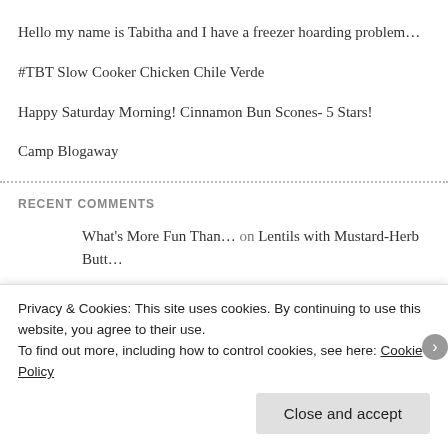Hello my name is Tabitha and I have a freezer hoarding problem…
#TBT Slow Cooker Chicken Chile Verde
Happy Saturday Morning! Cinnamon Bun Scones- 5 Stars!
Camp Blogaway
RECENT COMMENTS
What's More Fun Than… on Lentils with Mustard-Herb Butt…
Lewis Nelson on Hello my name is Tabitha
Privacy & Cookies: This site uses cookies. By continuing to use this website, you agree to their use.
To find out more, including how to control cookies, see here: Cookie Policy
Close and accept